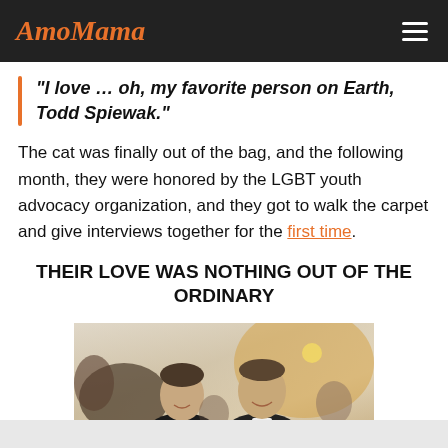AmoMama
"I love … oh, my favorite person on Earth, Todd Spiewak."
The cat was finally out of the bag, and the following month, they were honored by the LGBT youth advocacy organization, and they got to walk the carpet and give interviews together for the first time.
THEIR LOVE WAS NOTHING OUT OF THE ORDINARY
[Figure (photo): Two men smiling at a formal event, likely a gala or red carpet event with warm lighting and crowd in background]